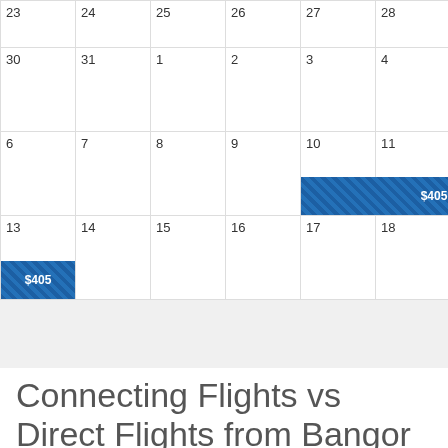[Figure (other): Partial flight price calendar showing dates 23-29 (top row, partial), 30-5, 6-12, 13-19 with $405 price bars shown on dates 10-12 and date 13]
Connecting Flights vs Direct Flights from Bangor to